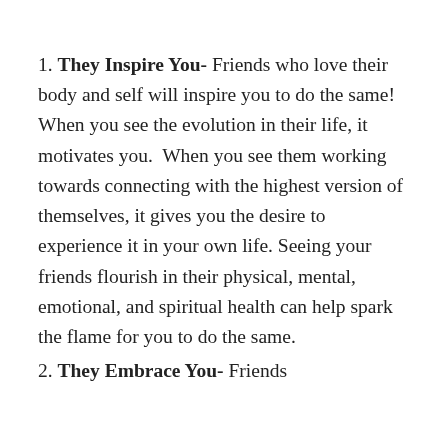1. They Inspire You- Friends who love their body and self will inspire you to do the same!  When you see the evolution in their life, it motivates you.  When you see them working towards connecting with the highest version of themselves, it gives you the desire to experience it in your own life. Seeing your friends flourish in their physical, mental, emotional, and spiritual health can help spark the flame for you to do the same.
2. They Embrace You- Friends